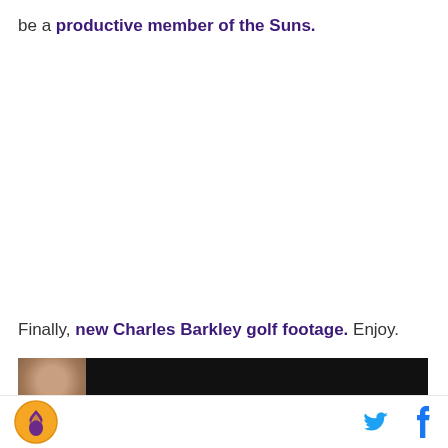be a productive member of the Suns.
Finally, new Charles Barkley golf footage. Enjoy.
[Figure (screenshot): Black video player bar with a person's face thumbnail on the left side]
Phoenix Suns logo and social media icons (Twitter, Facebook)